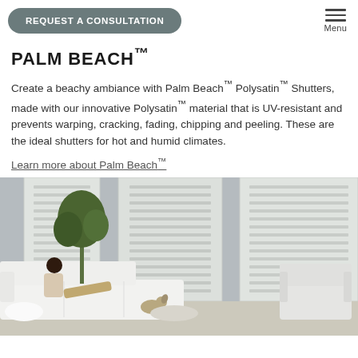REQUEST A CONSULTATION   Menu
PALM BEACH™
Create a beachy ambiance with Palm Beach™ Polysatin™ Shutters, made with our innovative Polysatin™ material that is UV-resistant and prevents warping, cracking, fading, chipping and peeling. These are the ideal shutters for hot and humid climates.
Learn more about Palm Beach™
[Figure (photo): Living room with white plantation shutters covering large windows in the background. A person relaxes on a white sectional sofa with a small dog nearby. A white armchair is to the right. A tropical plant stands to the left.]